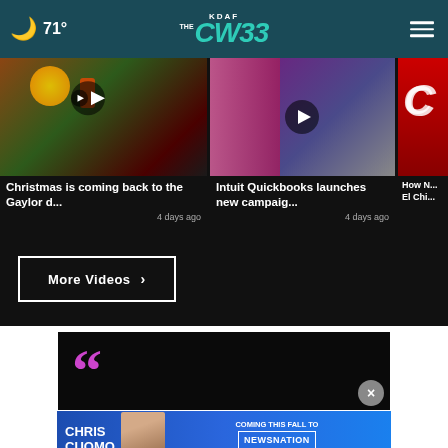🌙 71° — KDAF CW33
[Figure (screenshot): Video thumbnail: Christmas holiday scene with warm lights and decorations]
Christmas is coming back to the Gaylor d...
4 days ago
[Figure (screenshot): Video thumbnail: Intuit Quickbooks news segment with presenter and guest]
Intuit Quickbooks launches new campaig...
4 days ago
[Figure (screenshot): Partially visible video thumbnail with red brand logo]
How N... El Chi...
More Videos ›
[Figure (screenshot): Dark advertisement image with purple quotation marks]
[Figure (screenshot): Chris Cuomo Coming This Fall to NewsNation advertisement banner]